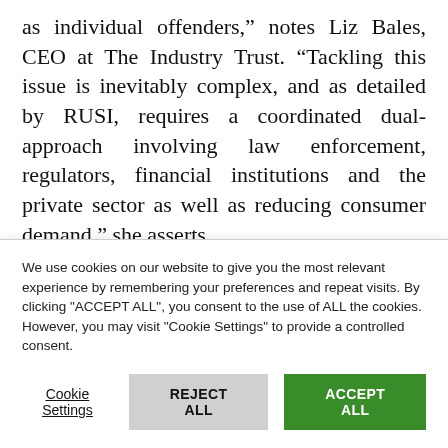as individual offenders,” notes Liz Bales, CEO at The Industry Trust. “Tackling this issue is inevitably complex, and as detailed by RUSI, requires a coordinated dual-approach involving law enforcement, regulators, financial institutions and the private sector as well as reducing consumer demand,” she asserts.
According to Bales, one of the main challenges
We use cookies on our website to give you the most relevant experience by remembering your preferences and repeat visits. By clicking “ACCEPT ALL”, you consent to the use of ALL the cookies. However, you may visit “Cookie Settings” to provide a controlled consent.